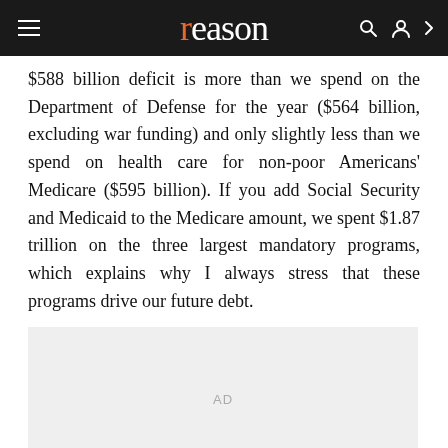reason
$588 billion deficit is more than we spend on the Department of Defense for the year ($564 billion, excluding war funding) and only slightly less than we spend on health care for non-poor Americans' Medicare ($595 billion). If you add Social Security and Medicaid to the Medicare amount, we spent $1.87 trillion on the three largest mandatory programs, which explains why I always stress that these programs drive our future debt.
[Figure (other): Advertisement placeholder box with 'AD' label]
We are steadily heading back toward a trillion-dollar deficit. CBO projects a deficit of $954 billion by 2022, assuming Congress sticks to the current law and maintains the budget caps, which are supposed to make their